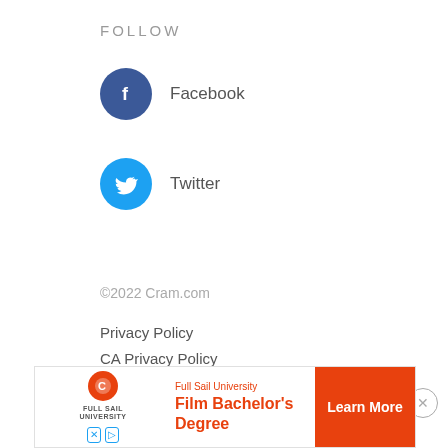FOLLOW
Facebook
Twitter
©2022 Cram.com
Privacy Policy
CA Privacy Policy
Site Map
Advertise
CA Do Not Sell My Personal Information
[Figure (infographic): Advertisement banner for Full Sail University Film Bachelor's Degree with Learn More button]